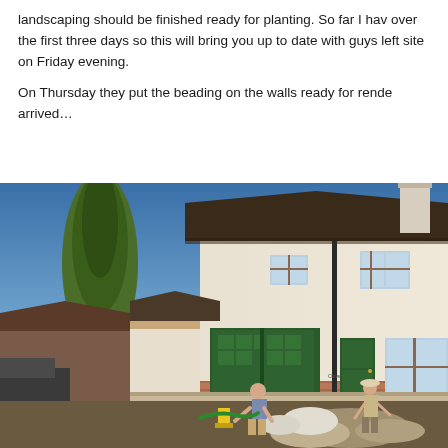landscaping should be finished ready for planting. So far I have over the first three days so this will bring you up to date with guys left site on Friday evening.
On Thursday they put the beading on the walls ready for rende arrived...
[Figure (photo): Exterior photo of a semi-detached house undergoing construction/renovation work. The house has cream/white rendered walls, a dark brown tiled roof, green garage doors, and a green front door. Two workers are visible in the foreground working on landscaping/groundworks. There is a large conifer tree on the left side, a blue sky, and piles of gravel/rubble in the foreground.]